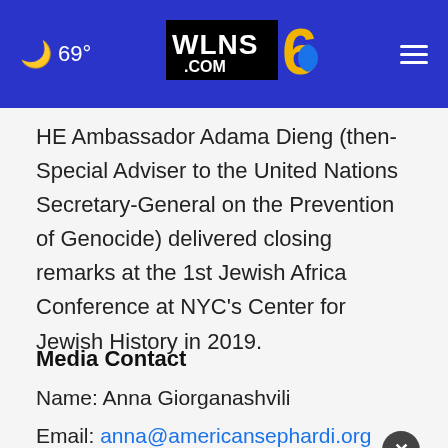WLNS 6 .COM — 69°
HE Ambassador Adama Dieng (then-Special Adviser to the United Nations Secretary-General on the Prevention of Genocide) delivered closing remarks at the 1st Jewish Africa Conference at NYC's Center for Jewish History in 2019.
Media Contact
Name: Anna Giorganashvili
Email: anna@americansephardi.org
Relat
[Figure (screenshot): Advertisement banner: Tires + Alignment Offer — Virginia Tire & Auto of Ashburn Fa.]